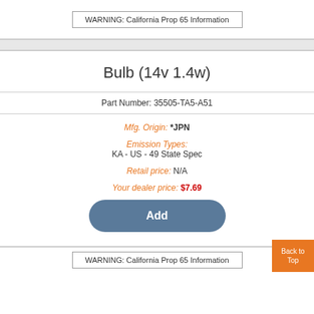WARNING: California Prop 65 Information
Bulb (14v 1.4w)
Part Number: 35505-TA5-A51
Mfg. Origin: JPN
Emission Types: KA - US - 49 State Spec
Retail price: N/A
Your dealer price: $7.69
Add
WARNING: California Prop 65 Information
Back to Top